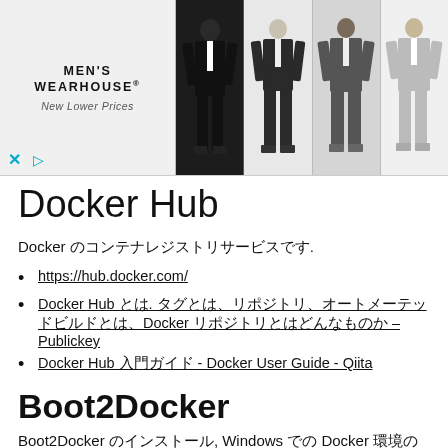[Figure (screenshot): Men's Wearhouse advertisement banner with logo on the left and four suit images on the right. Text reads MEN'S WEARHOUSE New Lower Prices. Close and play controls visible at bottom left.]
Docker Hub
Docker のコンテナレジストリサービスです.
https://hub.docker.com/
Docker Hub とは. タグとは、リポジトリ、オートメーテッドビルドとは、Docker リポジトリとはどんなものか – Publickey
Docker Hub 入門ガイド - Docker User Guide - Qiita
Boot2Docker
Boot2Docker のインストール, Windows での Docker 環境のセットアップ手順.